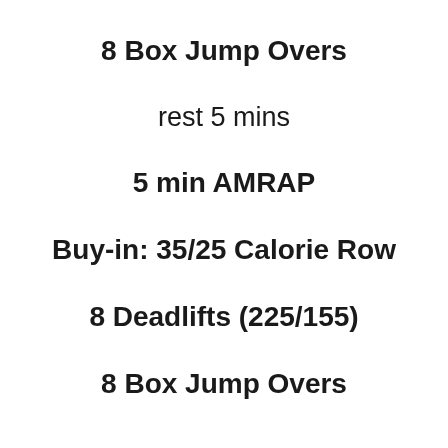8 Box Jump Overs
rest 5 mins
5 min AMRAP
Buy-in: 35/25 Calorie Row
8 Deadlifts (225/155)
8 Box Jump Overs